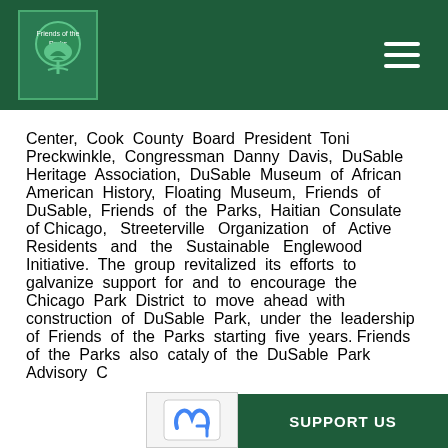Friends of the Parks logo and navigation
Center, Cook County Board President Toni Preckwinkle, Congressman Danny Davis, DuSable Heritage Association, DuSable Museum of African American History, Floating Museum, Friends of DuSable, Friends of the Parks, Haitian Consulate of Chicago, Streeterville Organization of Active Residents and the Sustainable Englewood Initiative. The group revitalized its efforts to galvanize support for and to encourage the Chicago Park District to move ahead with construction of DuSable Park, under the leadership of Friends of the Parks starting five years. Friends of the Parks also cataly of the DuSable Park Advisory C